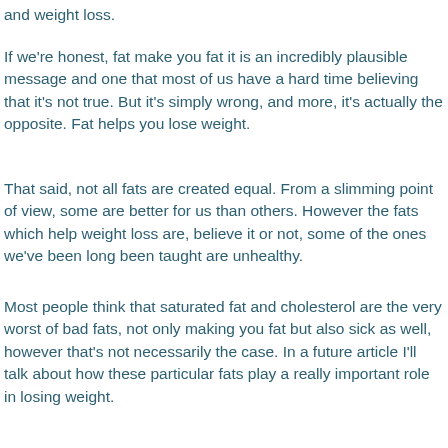and weight loss.
If we're honest, fat make you fat it is an incredibly plausible message and one that most of us have a hard time believing that it's not true. But it's simply wrong, and more, it's actually the opposite. Fat helps you lose weight.
That said, not all fats are created equal. From a slimming point of view, some are better for us than others. However the fats which help weight loss are, believe it or not, some of the ones we've been long been taught are unhealthy.
Most people think that saturated fat and cholesterol are the very worst of bad fats, not only making you fat but also sick as well, however that's not necessarily the case. In a future article I'll talk about how these particular fats play a really important role in losing weight.